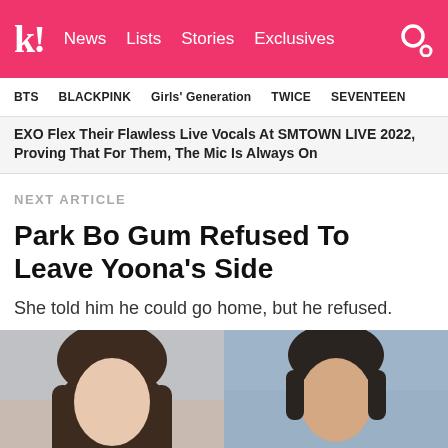k! News Lists Stories Exclusives
BTS  BLACKPINK  Girls' Generation  TWICE  SEVENTEEN
EXO Flex Their Flawless Live Vocals At SMTOWN LIVE 2022, Proving That For Them, The Mic Is Always On
NEXT ARTICLE
Park Bo Gum Refused To Leave Yoona's Side
She told him he could go home, but he refused.
[Figure (photo): Two side-by-side headshots: a woman with dark brown hair on the left, and a man with dark hair on the right, against a blurred background.]